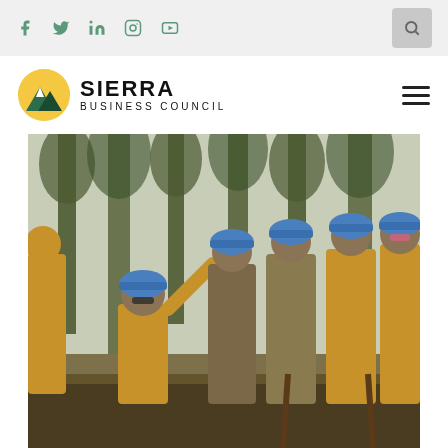Social media icons: Facebook, Twitter, LinkedIn, Instagram, YouTube; Search button
[Figure (logo): Sierra Business Council logo with mountain/sun icon and text SIERRA BUSINESS COUNCIL]
[Figure (photo): Group of forestry workers in yellow shirts and blue hard hats standing in a forest. One person kneels and points upward while others look on, holding tools.]